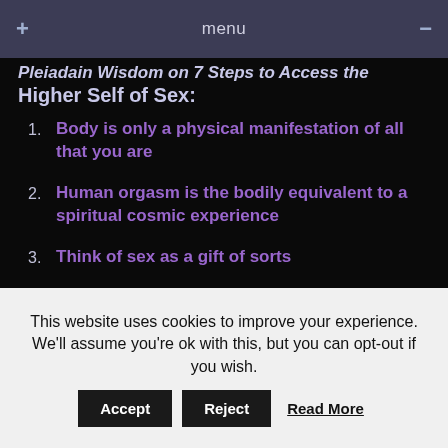menu
Pleiadain Wisdom on 7 Steps to Access the Higher Self of Sex:
Body is only a physical manifestation of all that you are
Human orgasm is the bodily equivalent to a spiritual cosmic experience
Think of sex as a gift of sorts
Ultimate sex is about connecting to a spiritual force outside of yourself
This website uses cookies to improve your experience. We'll assume you're ok with this, but you can opt-out if you wish.